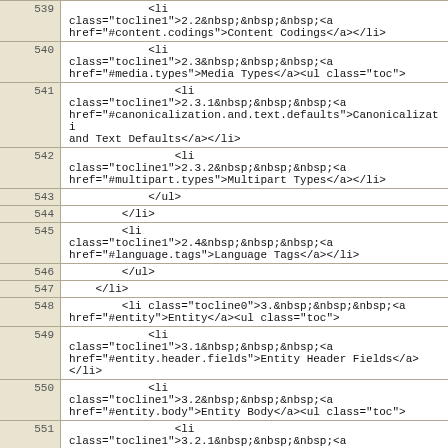| line | code |
| --- | --- |
| 539 | <li
class="tocline1">2.2&nbsp;&nbsp;&nbsp;<a
href="#content.codings">Content Codings</a></li> |
| 540 | <li
class="tocline1">2.3&nbsp;&nbsp;&nbsp;<a
href="#media.types">Media Types</a><ul class="toc"> |
| 541 | <li
class="tocline1">2.3.1&nbsp;&nbsp;&nbsp;<a
href="#canonicalization.and.text.defaults">Canonicalizati
and Text Defaults</a></li> |
| 542 | <li
class="tocline1">2.3.2&nbsp;&nbsp;&nbsp;<a
href="#multipart.types">Multipart Types</a></li> |
| 543 | </ul> |
| 544 | </li> |
| 545 | <li
class="tocline1">2.4&nbsp;&nbsp;&nbsp;<a
href="#language.tags">Language Tags</a></li> |
| 546 | </ul> |
| 547 | </li> |
| 548 | <li class="tocline0">3.&nbsp;&nbsp;&nbsp;<a
href="#entity">Entity</a><ul class="toc"> |
| 549 | <li
class="tocline1">3.1&nbsp;&nbsp;&nbsp;<a
href="#entity.header.fields">Entity Header Fields</a>
</li> |
| 550 | <li
class="tocline1">3.2&nbsp;&nbsp;&nbsp;<a
href="#entity.body">Entity Body</a><ul class="toc"> |
| 551 | <li
class="tocline1">3.2.1&nbsp;&nbsp;&nbsp;<a
href="#type">Type</a></li> |
| 552 | <li
class="tocline1">3.2.2&nbsp;&nbsp;&nbsp;<a
href="#entity.length">Entity Length</a></li> |